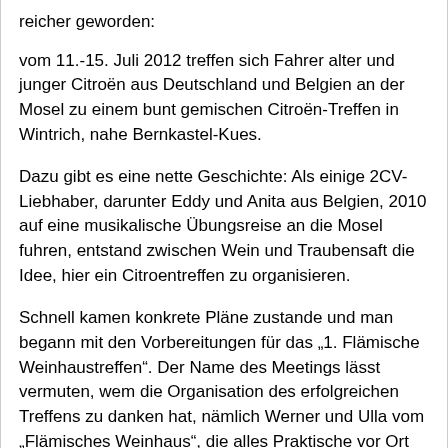reicher geworden:
vom 11.-15. Juli 2012 treffen sich Fahrer alter und junger Citroën aus Deutschland und Belgien an der Mosel zu einem bunt gemischen Citroën-Treffen in Wintrich, nahe Bernkastel-Kues.
Dazu gibt es eine nette Geschichte: Als einige 2CV-Liebhaber, darunter Eddy und Anita aus Belgien, 2010 auf eine musikalische Übungsreise an die Mosel fuhren, entstand zwischen Wein und Traubensaft die Idee, hier ein Citroentreffen zu organisieren.
Schnell kamen konkrete Pläne zustande und man begann mit den Vorbereitungen für das „1. Flämische Weinhaustreffen“. Der Name des Meetings lässt vermuten, wem die Organisation des erfolgreichen Treffens zu danken hat, nämlich Werner und Ulla vom „Flämisches Weinhaus“, die alles Praktische vor Ort regeln und die lokalen Aktivitäten und Ausflüge organisieren.
Nach dem großartigen Erfolg und den zahlreichen positiven